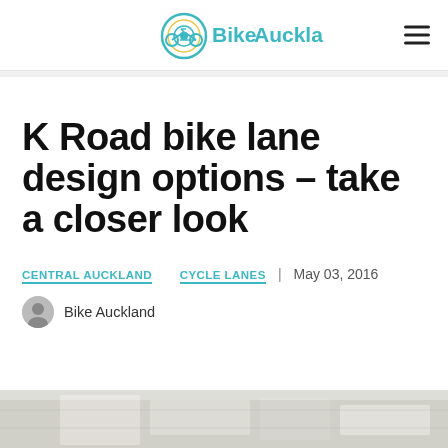Bike Auckland
K Road bike lane design options – take a closer look
CENTRAL AUCKLAND CYCLE LANES | May 03, 2016
Bike Auckland
[Figure (photo): Partial view of road/map design documents at bottom of page]